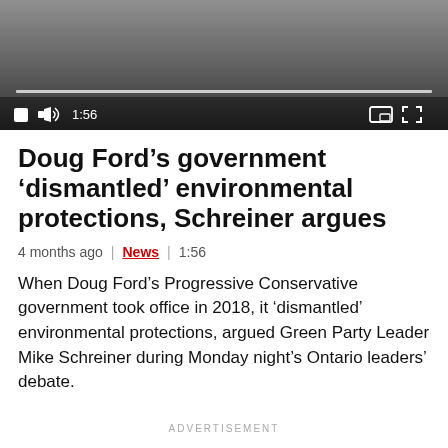[Figure (screenshot): Video player with dark gradient background, scrubber bar, and playback controls showing stop button, volume icon, timestamp 1:56, picture-in-picture and fullscreen icons]
Doug Ford's government 'dismantled' environmental protections, Schreiner argues
4 months ago | News | 1:56
When Doug Ford's Progressive Conservative government took office in 2018, it 'dismantled' environmental protections, argued Green Party Leader Mike Schreiner during Monday night's Ontario leaders' debate.
ADVERTISEMENT